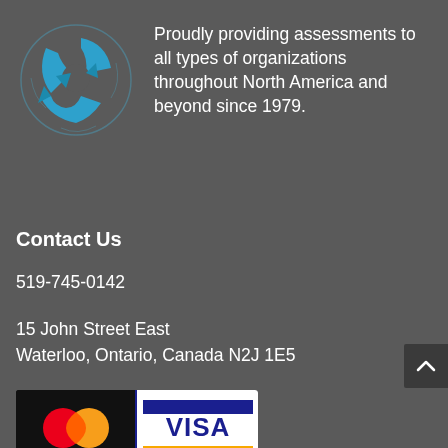[Figure (logo): Blue circular logo with abstract triangular arrow shapes forming a globe/recycling motif]
Proudly providing assessments to all types of organizations throughout North America and beyond since 1979.
Contact Us
519-745-0142
15 John Street East
Waterloo, Ontario, Canada N2J 1E5
[Figure (logo): Mastercard and Visa payment logos side by side on a dark background]
[Figure (other): Scroll to top button with upward chevron arrow]